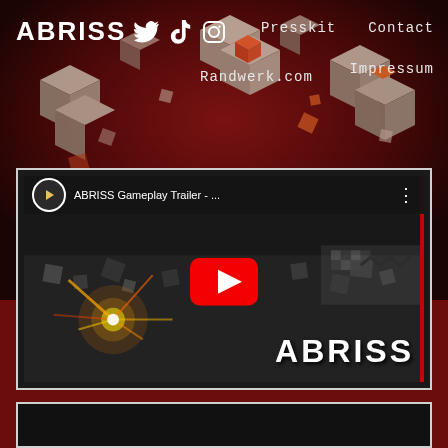ABRISS [Twitter] [TikTok] [Instagram]    Presskit    Contact
    Randwerk.com    Impressum
[Figure (screenshot): YouTube embedded video player showing ABRISS Gameplay Trailer with play button and ABRISS logo overlay on a dark destruction game scene]
[Figure (screenshot): Bottom partial card with dark background, beginning of another content section]